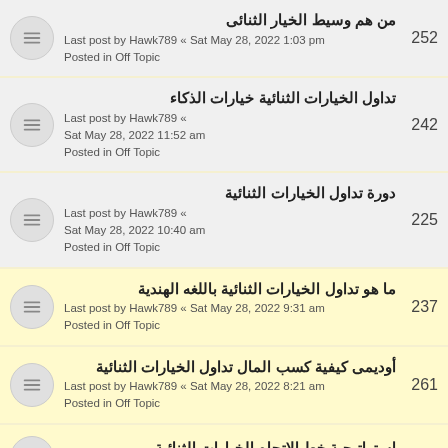من هم وسيط الخيار الثنائى | Last post by Hawk789 « Sat May 28, 2022 1:03 pm | Posted in Off Topic | 252
تداول الخيارات الثنائية خيارات الذكاء | Last post by Hawk789 « Sat May 28, 2022 11:52 am | Posted in Off Topic | 242
دورة تداول الخيارات الثنائية | Last post by Hawk789 « Sat May 28, 2022 10:40 am | Posted in Off Topic | 225
ما هو تداول الخيارات الثنائية باللغه الهندية | Last post by Hawk789 « Sat May 28, 2022 9:31 am | Posted in Off Topic | 237
أوديمى كيفية كسب المال تداول الخيارات الثنائية | Last post by Hawk789 « Sat May 28, 2022 8:21 am | Posted in Off Topic | 261
استراتيجية خط الاتجاه الخيارات الثنائية | Last post by Hawk789 « Sat May 28, 2022 7:16 am | 247